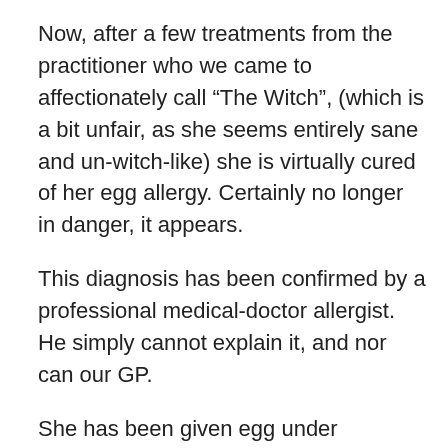Now, after a few treatments from the practitioner who we came to affectionately call “The Witch”, (which is a bit unfair, as she seems entirely sane and un-witch-like) she is virtually cured of her egg allergy. Certainly no longer in danger, it appears.
This diagnosis has been confirmed by a professional medical-doctor allergist. He simply cannot explain it, and nor can our GP.
She has been given egg under controlled conditions in hospital. Lots of it. She was fine apart from a mild remaining sensitivity to uncooked egg white.
(The naturopath believes she can fix that too.)
She has eaten, for the first time in her life, cakes, biscuits,